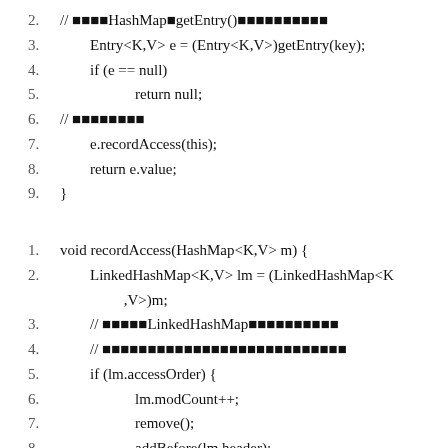2. // ■■■■HashMap■getEntry()■■■■■■■■■■
3.     Entry<K,V> e = (Entry<K,V>)getEntry(key);
4.     if (e == null)
5.         return null;
6.     // ■■■■■■■■
7.     e.recordAccess(this);
8.     return e.value;
9. }
1. void recordAccess(HashMap<K,V> m) {
2.     LinkedHashMap<K,V> lm = (LinkedHashMap<K,V>)m;
3.     // ■■■■■LinkedHashMap■■■■■■■■■■
4.     // ■■■■■■■■■■■■■■■■■■■■■■■■■■■
5.     if (lm.accessOrder) {
6.         lm.modCount++;
7.         remove();
8.         addBefore(lm.header);
9.     }